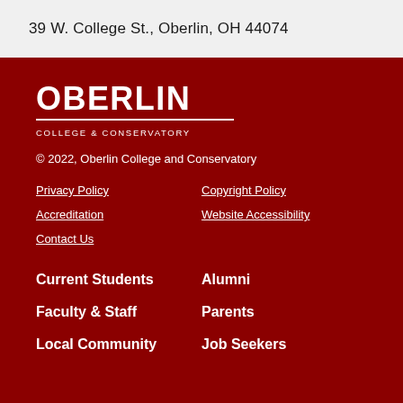39 W. College St., Oberlin, OH 44074
[Figure (logo): Oberlin College & Conservatory logo with wordmark in white on dark red background]
© 2022, Oberlin College and Conservatory
Privacy Policy
Copyright Policy
Accreditation
Website Accessibility
Contact Us
Current Students
Alumni
Faculty & Staff
Parents
Local Community
Job Seekers